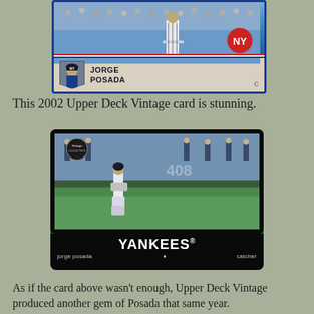[Figure (photo): 2002 Upper Deck baseball card of Jorge Posada, New York Yankees catcher, showing player in action with name displayed at bottom]
This 2002 Upper Deck Vintage card is stunning.
[Figure (photo): Upper Deck Vintage baseball card of Jorge Posada, Yankees catcher, standing on field with '408' visible on outfield wall. Black card with 'YANKEES®' text and 'jorge posada ♦ catcher' at bottom]
As if the card above wasn't enough, Upper Deck Vintage produced another gem of Posada that same year.